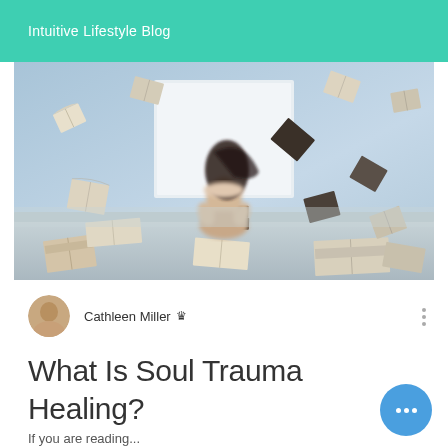Intuitive Lifestyle Blog
[Figure (photo): Woman sitting on a bed surrounded by books floating in the air, artistic motion-blur photo with light blue background]
Cathleen Miller
What Is Soul Trauma Healing?
If you are reading...